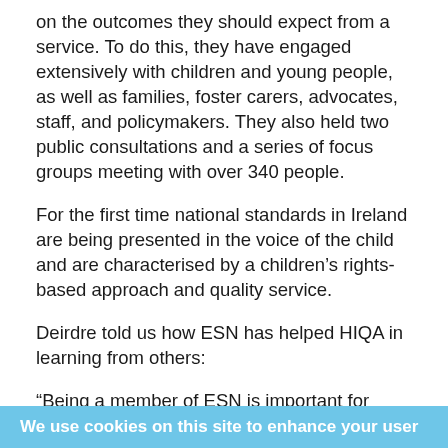on the outcomes they should expect from a service. To do this, they have engaged extensively with children and young people, as well as families, foster carers, advocates, staff, and policymakers. They also held two public consultations and a series of focus groups meeting with over 340 people.
For the first time national standards in Ireland are being presented in the voice of the child and are characterised by a children's rights-based approach and quality service.
Deirdre told us how ESN has helped HIQA in learning from others:
“Being a member of ESN is important for HIQA as it has helped us to think more broadly about emerging practice through engagement with our colleagues in Europe. It has also helped us to understand, in a
We use cookies on this site to enhance your user